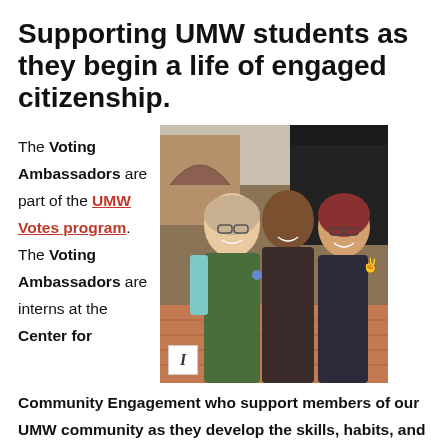Supporting UMW students as they begin a life of engaged citizenship.
The Voting Ambassadors are part of the UMW Votes program. The Voting Ambassadors are interns at the Center for Community Engagement who support members of our UMW community as they develop the skills, habits, and knowledge needed for a life of engaged citizenship. The internships are a great way to develop leadership skills in civic engagement, and can provide
[Figure (photo): Three female students smiling and posing together outdoors near a brick building and a black vehicle. One wears a dark green jacket with a backpack, one wears a dark hoodie, and one wears a dark jacket with reddish hair.]